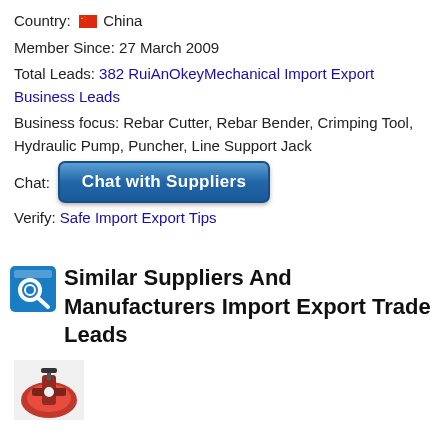Country: 🇨🇳 China
Member Since: 27 March 2009
Total Leads: 382 RuiAnOkeyMechanical Import Export Business Leads
Business focus: Rebar Cutter, Rebar Bender, Crimping Tool, Hydraulic Pump, Puncher, Line Support Jack
Chat: [Chat with Suppliers button]
Verify: Safe Import Export Tips
Similar Suppliers And Manufacturers Import Export Trade Leads
[Figure (photo): Partial image of a red mechanical tool/machine at the bottom of the page]